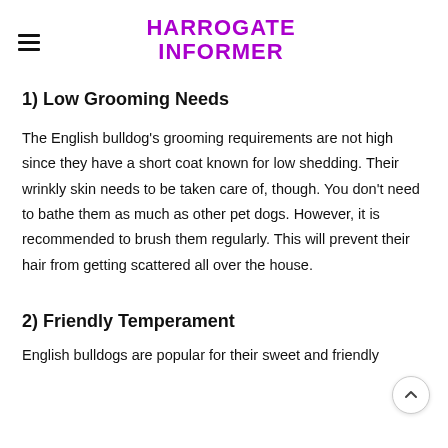HARROGATE INFORMER
1) Low Grooming Needs
The English bulldog's grooming requirements are not high since they have a short coat known for low shedding. Their wrinkly skin needs to be taken care of, though. You don't need to bathe them as much as other pet dogs. However, it is recommended to brush them regularly. This will prevent their hair from getting scattered all over the house.
2) Friendly Temperament
English bulldogs are popular for their sweet and friendly